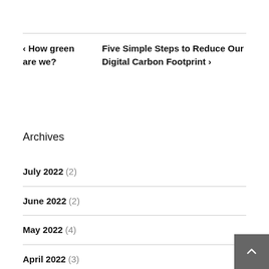« How green are we?
Five Simple Steps to Reduce Our Digital Carbon Footprint »
Archives
July 2022 (2)
June 2022 (2)
May 2022 (4)
April 2022 (3)
March 2022 (8)